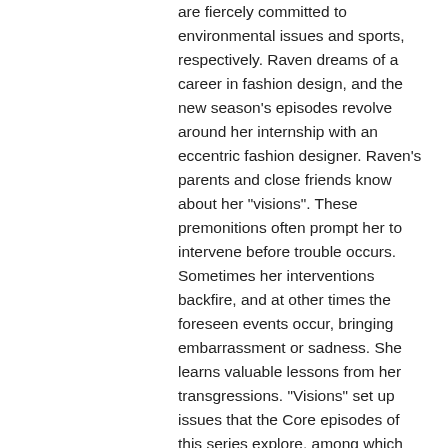are fiercely committed to environmental issues and sports, respectively. Raven dreams of a career in fashion design, and the new season's episodes revolve around her internship with an eccentric fashion designer. Raven's parents and close friends know about her "visions". These premonitions often prompt her to intervene before trouble occurs. Sometimes her interventions backfire, and at other times the foreseen events occur, bringing embarrassment or sadness. She learns valuable lessons from her transgressions. "Visions" set up issues that the Core episodes of this series explore, among which are